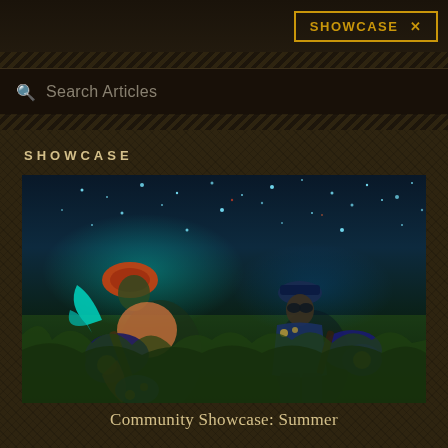SHOWCASE X
Search Articles
SHOWCASE
[Figure (screenshot): Two fantasy game characters playing guitars in a glowing night-time field with fireflies/stars in the background. Left character wears colorful indigenous-style armor with glowing teal accents; right character wears dark blue military-style outfit. Both hold ornate guitars.]
Community Showcase: Summer